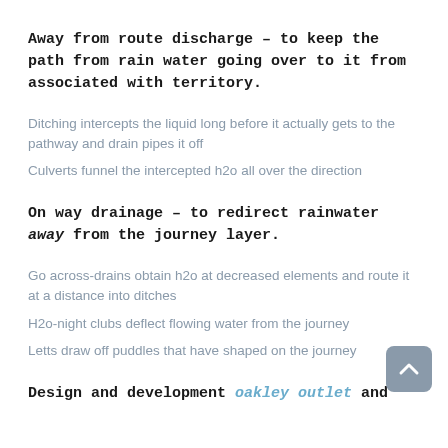Away from route discharge – to keep the path from rain water going over to it from associated with territory.
Ditching intercepts the liquid long before it actually gets to the pathway and drain pipes it off
Culverts funnel the intercepted h2o all over the direction
On way drainage – to redirect rainwater away from the journey layer.
Go across-drains obtain h2o at decreased elements and route it at a distance into ditches
H2o-night clubs deflect flowing water from the journey
Letts draw off puddles that have shaped on the journey
Design and development oakley outlet and